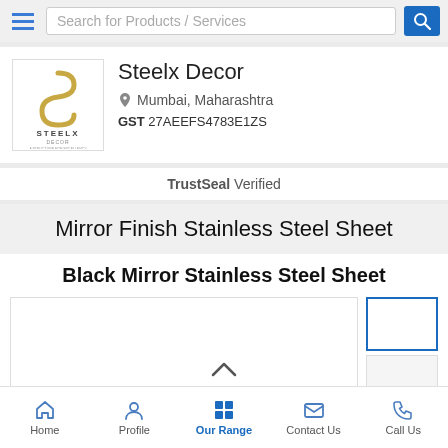Search for Products / Services
Steelx Decor
Mumbai, Maharashtra
GST 27AEEFS4783E1ZS
TrustSeal Verified
Mirror Finish Stainless Steel Sheet
Black Mirror Stainless Steel Sheet
[Figure (photo): Product image area for Black Mirror Stainless Steel Sheet with main image placeholder and thumbnail column]
Home  Profile  Our Range  Contact Us  Call Us